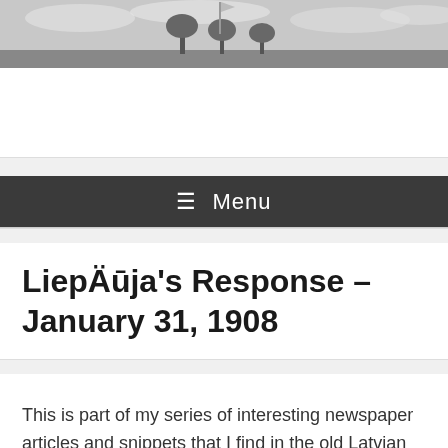[Figure (photo): Black and white landscape photograph showing a flag pole with trees and sky in the background, used as a website header image.]
≡ Menu
LiepÄja's Response – January 31, 1908
This is part of my series of interesting newspaper articles and snippets that I find in the old Latvian newspapers available through Periodika. Most of the articles I post are